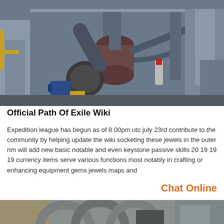[Figure (photo): Industrial machinery with large pipes, a centrifugal fan with blue motor, dust collectors, and steel structural framework in a processing plant.]
Official Path Of Exile Wiki
Expedition league has begun as of 8 00pm utc july 23rd contribute to the community by helping update the wiki socketing these jewels in the outer rim will add new basic notable and even keystone passive skills 20 19 19 19 currency items serve various functions most notably in crafting or enhancing equipment gems jewels maps and
Chat Online
[Figure (photo): Industrial piping and machinery at the bottom of the page, showing large interconnected pipes in a processing or mining facility.]